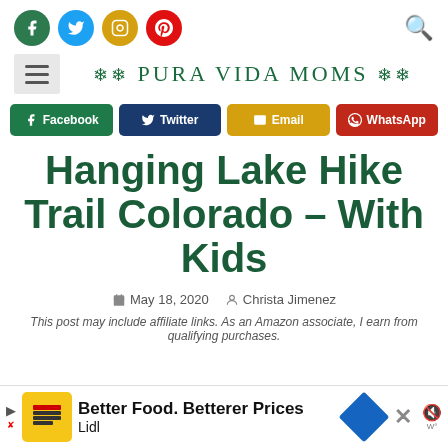Social icons: Facebook, Twitter, Instagram, Pinterest; Search icon
[Figure (logo): Pura Vida Moms logo with decorative leaf/floral embellishments and hamburger menu icon]
[Figure (infographic): Share buttons: Facebook (dark green), Twitter (dark blue), Email (yellow/gold), WhatsApp (red)]
Hanging Lake Hike Trail Colorado – With Kids
May 18, 2020   Christa Jimenez
This post may include affiliate links. As an Amazon associate, I earn from qualifying purchases.
[Figure (other): Advertisement banner: Better Food. Betterer Prices — Lidl]